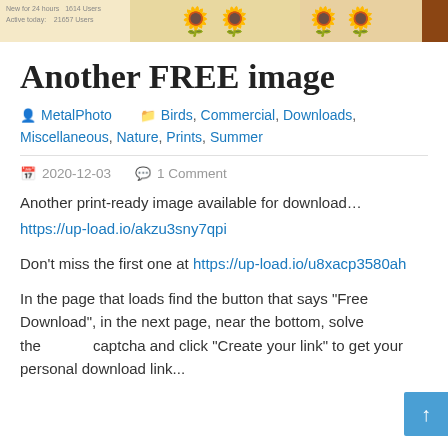[Figure (screenshot): Top banner with game/app advertisement showing users count, bird imagery, and promotional text on a warm yellow/tan background]
Another FREE image
MetalPhoto    Birds, Commercial, Downloads, Miscellaneous, Nature, Prints, Summer
2020-12-03    1 Comment
Another print-ready image available for download… https://up-load.io/akzu3sny7qpi
Don't miss the first one at https://up-load.io/u8xacp3580ah
In the page that loads find the button that says "Free Download", in the next page, near the bottom, solve the captcha and click "Create your link" to get your personal download link...